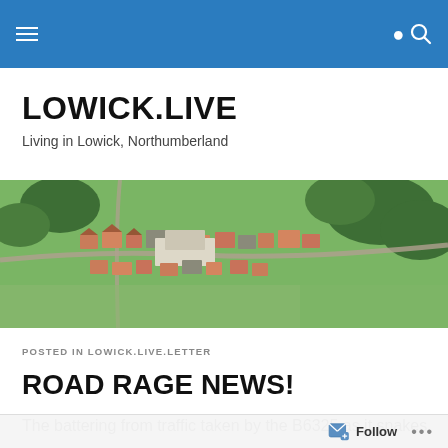LOWICK.LIVE — navigation bar with hamburger menu and search icon
LOWICK.LIVE
Living in Lowick, Northumberland
[Figure (photo): Aerial photograph of Lowick village, Northumberland, showing houses, roads, green fields and trees from above]
POSTED IN LOWICK.LIVE.LETTER
ROAD RAGE NEWS!
The battering from traffic taken by the B6325 as it snakes
Follow …